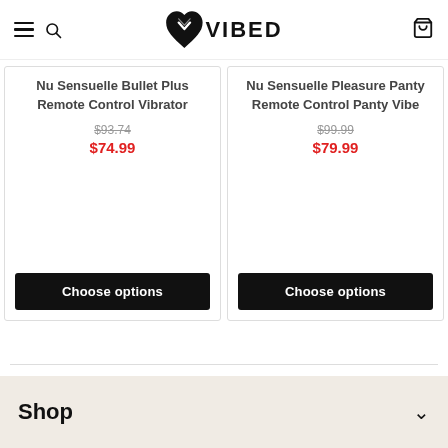VIBED
Nu Sensuelle Bullet Plus Remote Control Vibrator
$93.74
$74.99
Nu Sensuelle Pleasure Panty Remote Control Panty Vibe
$99.99
$79.99
Shop